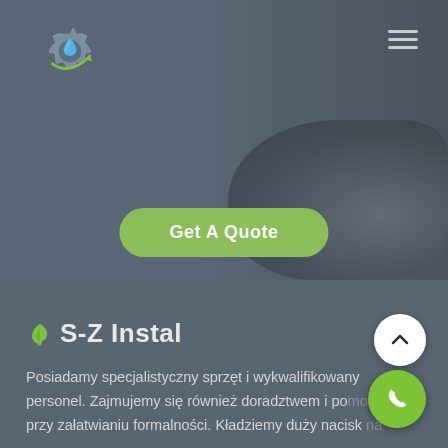[Figure (logo): S-Z Instal logo: a gear with a water droplet and green swoosh]
[Figure (other): Hamburger menu icon (three horizontal lines) in upper right]
[Figure (screenshot): Hero background image showing machinery/plumbing equipment, dark overlay]
Get A Quote
S-Z Instal
Posiadamy specjalistyczny sprzęt i wykwalifikowany personel. Zajmujemy się również doradztwem i pomocą przy załatwianiu formalności. Kładziemy duży nacisk na jakość wykonania robót, wszystkie certyfikowanymi...